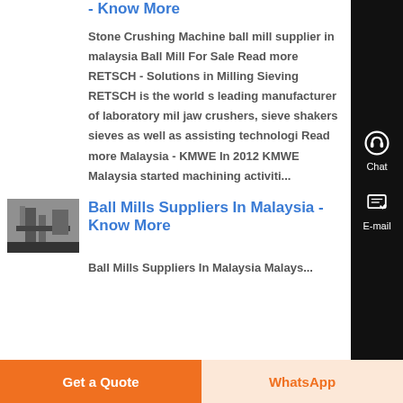- Know More
Stone Crushing Machine ball mill supplier in malaysia Ball Mill For Sale Read more RETSCH - Solutions in Milling Sieving RETSCH is the world s leading manufacturer of laboratory mil jaw crushers, sieve shakers sieves as well as assisting technologi Read more Malaysia - KMWE In 2012 KMWE Malaysia started machining activiti...
[Figure (photo): Thumbnail photo showing industrial machinery, black and white]
Ball Mills Suppliers In Malaysia - Know More
Ball Mills Suppliers In Malaysia Malays...